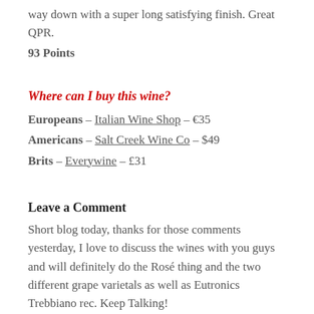way down with a super long satisfying finish. Great QPR.
93 Points
Where can I buy this wine?
Europeans – Italian Wine Shop – €35
Americans – Salt Creek Wine Co – $49
Brits – Everywine – £31
Leave a Comment
Short blog today, thanks for those comments yesterday, I love to discuss the wines with you guys and will definitely do the Rosé thing and the two different grape varietals as well as Eutronics Trebbiano rec. Keep Talking!